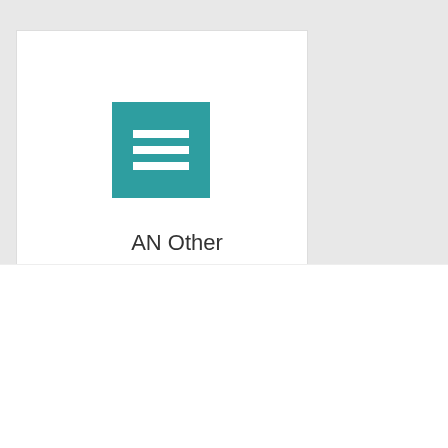[Figure (screenshot): A white card with a teal square icon containing three white horizontal lines (hamburger/document icon), followed by the text 'AN Other' below it, on a light grey background]
We use cookies on our website to give you the most relevant experience by remembering your preferences and repeat visits. By clicking “Accept”, you consent to the use of ALL the cookies. However you may visit Cookie Settings to provide a controlled consent.
Cookie settings
ACCEPT
REJECT
Read Cookie Policy